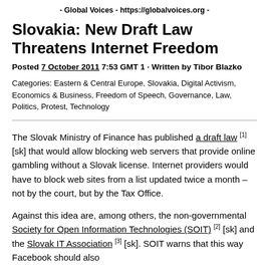- Global Voices - https://globalvoices.org -
Slovakia: New Draft Law Threatens Internet Freedom
Posted 7 October 2011 7:53 GMT 1 · Written by Tibor Blazko
Categories: Eastern & Central Europe, Slovakia, Digital Activism, Economics & Business, Freedom of Speech, Governance, Law, Politics, Protest, Technology
The Slovak Ministry of Finance has published a draft law [1] [sk] that would allow blocking web servers that provide online gambling without a Slovak license. Internet providers would have to block web sites from a list updated twice a month – not by the court, but by the Tax Office.
Against this idea are, among others, the non-governmental Society for Open Information Technologies (SOIT) [2] [sk] and the Slovak IT Association [3] [sk]. SOIT warns that this way Facebook should also